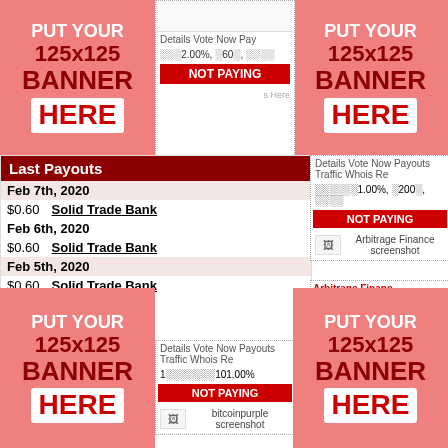[Figure (infographic): PUT YOUR 125x125 BANNER HERE - top left ad banner placeholder]
Details  Vote Now  Pay...  ░░░2.00%, ░60░, ░░░░
NOT PAYING
[Figure (infographic): PUT YOUR 125x125 BANNER HERE - top right ad banner placeholder]
Last Payouts
Feb 7th, 2020
$0.60   Solid Trade Bank
Feb 6th, 2020
$0.60   Solid Trade Bank
Feb 5th, 2020
$0.60   Solid Trade Bank
$4.50   W Capital
Feb 4th, 2020
Details  Vote Now  Payouts  Traffic  Whois  Re...  ░░░░░░1.00%, ░200░, ░░░░
NOT PAYING
Arbitrage Finance screenshot
Arbitrage Financ...
Min/Max: 10 / No Li...  Referral: ░░░░ 10%  Withdrawal: Manual
Details  Vote Now  Payouts  Traffic  Whois  Re...  1░░░░░░░101.00%
NOT PAYING
bitcoinpurple screenshot
[Figure (infographic): PUT YOUR 125x125 BANNER HERE - bottom left ad banner placeholder]
Bank  3.325%  6.7%  .2%
[Figure (infographic): PUT YOUR 125x125 BANNER HERE - bottom right ad banner placeholder]